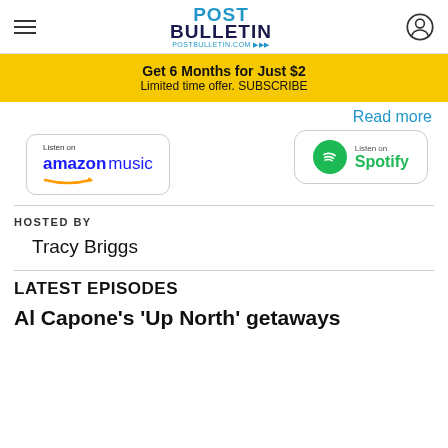POST BULLETIN — postbulletin.com
Get 6 Months for Just $2
Limited time offer. SUBSCRIBE
Read more
[Figure (logo): Listen on Amazon Music badge]
[Figure (logo): Listen on Spotify badge]
HOSTED BY
Tracy Briggs
LATEST EPISODES
Al Capone's 'Up North' getaways